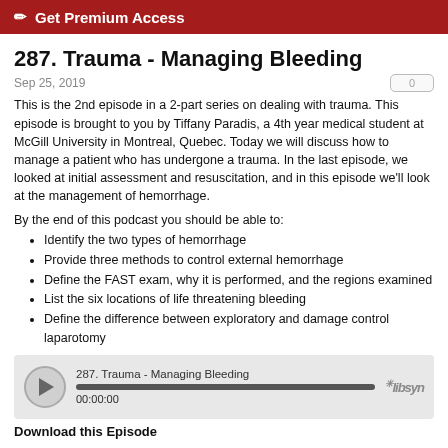✏ Get Premium Access
287. Trauma - Managing Bleeding
Sep 25, 2019
This is the 2nd episode in a 2-part series on dealing with trauma.  This episode is brought to you by Tiffany Paradis, a 4th year medical student at McGill University in Montreal, Quebec. Today we will discuss how to manage a patient who has undergone a trauma.  In the last episode, we looked at initial assessment and resuscitation, and in this episode we'll look at the management of hemorrhage.
By the end of this podcast you should be able to:
Identify the two types of hemorrhage
Provide three methods to control external hemorrhage
Define the FAST exam, why it is performed, and the regions examined
List the six locations of life threatening bleeding
Define the difference between exploratory and damage control laparotomy
[Figure (other): Audio player widget for episode 287. Trauma - Managing Bleeding, showing play button, progress bar, and time 00:00:00 with Libsyn logo]
Download this Episode